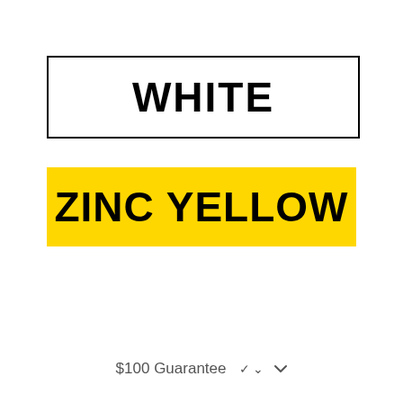[Figure (illustration): White rectangular label with black border containing bold black text 'WHITE']
[Figure (illustration): Zinc yellow rectangular label with bold black text 'ZINC YELLOW']
$100 Guarantee